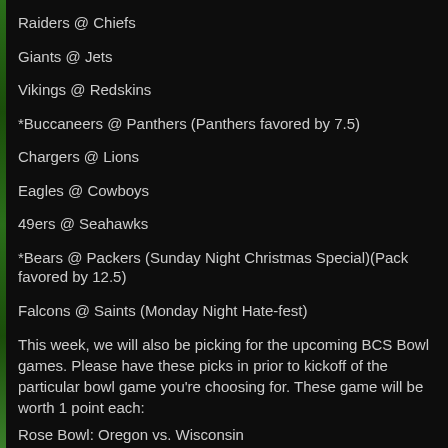Raiders @ Chiefs
Giants @ Jets
Vikings @ Redskins
*Buccaneers @ Panthers (Panthers favored by 7.5)
Chargers @ Lions
Eagles @ Cowboys
49ers @ Seahawks
*Bears @ Packers (Sunday Night Christmas Special)(Pack favored by 12.5)
Falcons @ Saints (Monday Night Hate-fest)
This week, we will also be picking for the upcoming BCS Bowl games. Please have these picks in prior to kickoff of the particular bowl game you're choosing for. These game will be worth 1 point each:
Rose Bowl: Oregon vs. Wisconsin